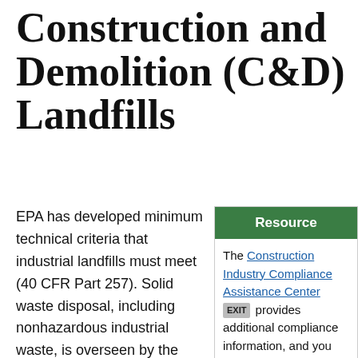Industrial and Construction and Demolition (C&D) Landfills
EPA has developed minimum technical criteria that industrial landfills must meet (40 CFR Part 257). Solid waste disposal, including nonhazardous industrial waste, is overseen by the states. Some states may impose requirements that are more stringent than the
Resource
The Construction Industry Compliance Assistance Center [EXIT] provides additional compliance information, and you many also contact your state or local